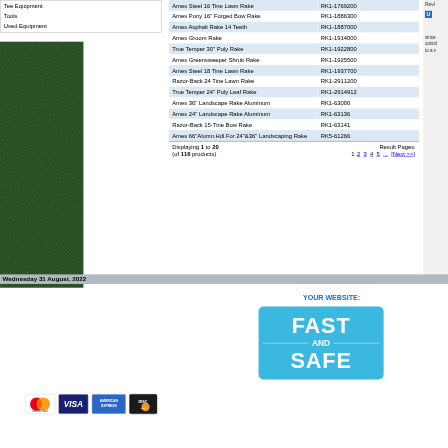Tee Equipment
Tools
Used Equipment
| Product Name | SKU |
| --- | --- |
| Ames Steel 16 Tine Lawn Rake | RK1-1769200 |
| Ames Pony 16" Forged Bow Rake | RK1-1886300 |
| Ames Asphalt Rake 14 Teeth | RK1-1887000 |
| Ames Groom Rake | RK1-1914000 |
| True Temper 30" Poly Rake | RK1-1922800 |
| Ames Greensweeper Shrub Rake | RK1-1925500 |
| Ames Steel 18 Tine Lawn Rake | RK1-1937700 |
| Razor-Back 24 Tine Lawn Rake | RK1-2911200 |
| True Temper 24" Poly Leaf Rake | RK1-2914912 |
| Ames 36" Landscape Rake Aluminum | RK1-63000 |
| Ames 24" Landscape Rake Aluminum | RK1-63136 |
| Razor-Back 15-Tine Bow Rake | RK1-63141 |
| Ames 66"Alumn.Hdl.For 24"&36" Landscaping Rake | RK5-61266 |
Displaying 1 to 20 (of 116 products) Result Pages: 1 2 3 4 5 ... [Next >>]
Wednesday 31 August, 2022
YOUR WEBSITE:
[Figure (infographic): Blue rounded rectangle badge with text FAST AND SAFE in white bold letters]
Copyright © E.H. Griffith. About this site.